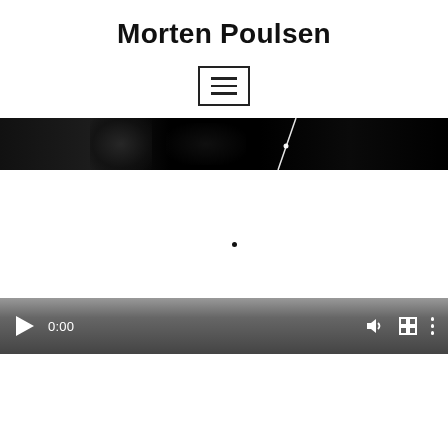Morten Poulsen
[Figure (other): Hamburger menu button icon — three horizontal lines inside a bordered rectangle]
[Figure (photo): Dark panoramic image strip, mostly black with faint circular shapes and a bright white diagonal line/streak near the center-right]
[Figure (screenshot): White area with a small black dot in the center, appearing to be a video player thumbnail or blank frame. Below is a video player control bar with play button, time display 0:00, volume icon, fullscreen icon, and more options icon.]